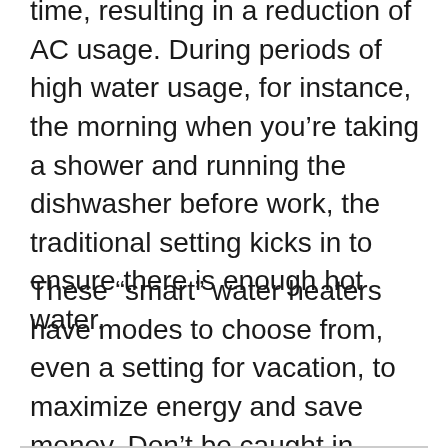time, resulting in a reduction of AC usage. During periods of high water usage, for instance, the morning when you’re taking a shower and running the dishwasher before work, the traditional setting kicks in to ensure there is enough hot water.
These “smart” water heaters have modes to choose from, even a setting for vacation, to maximize energy and save money. Don’t be caught in another cold shower again. Be smart.